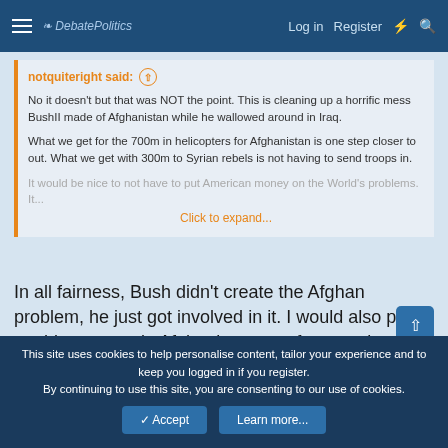DebatePolitics — Log in  Register
notquiteright said:
No it doesn't but that was NOT the point. This is cleaning up a horrific mess BushII made of Afghanistan while he wallowed around in Iraq.

What we get for the 700m in helicopters for Afghanistan is one step closer to out. What we get with 300m to Syrian rebels is not having to send troops in.

It would be nice to not have to Click to expand...
In all fairness, Bush didn't create the Afghan problem, he just got involved in it. I would also point out his strategy in Afghanistan was far superior to that of Iraq.
This site uses cookies to help personalise content, tailor your experience and to keep you logged in if you register.
By continuing to use this site, you are consenting to our use of cookies.